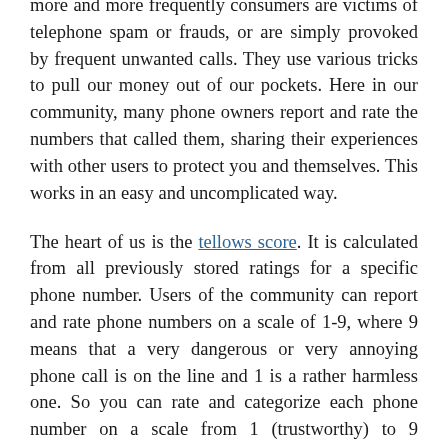more and more frequently consumers are victims of telephone spam or frauds, or are simply provoked by frequent unwanted calls. They use various tricks to pull our money out of our pockets. Here in our community, many phone owners report and rate the numbers that called them, sharing their experiences with other users to protect you and themselves. This works in an easy and uncomplicated way.
The heart of us is the tellows score. It is calculated from all previously stored ratings for a specific phone number. Users of the community can report and rate phone numbers on a scale of 1-9, where 9 means that a very dangerous or very annoying phone call is on the line and 1 is a rather harmless one. So you can rate and categorize each phone number on a scale from 1 (trustworthy) to 9 (dubious). From 7 on, the corresponding phone number is placed on a blacklist of the community and is thus blocked for everyone using the tellows products by itself and provides an appropriate protection. Depending on the rating, you can then assess the